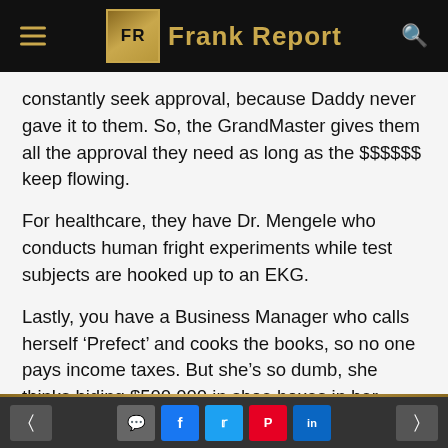Frank Report
constantly seek approval, because Daddy never gave it to them. So, the GrandMaster gives them all the approval they need as long as the $$$$$$ keep flowing.
For healthcare, they have Dr. Mengele who conducts human fright experiments while test subjects are hooked up to an EKG.
Lastly, you have a Business Manager who calls herself ‘Prefect’ and cooks the books, so no one pays income taxes. But she’s so dumb, she thinks hiding $500,000 in shoe boxes in her house is a good idea.
Fuuuudddggggeeee. You cannot make this stuff
Navigation and social share buttons